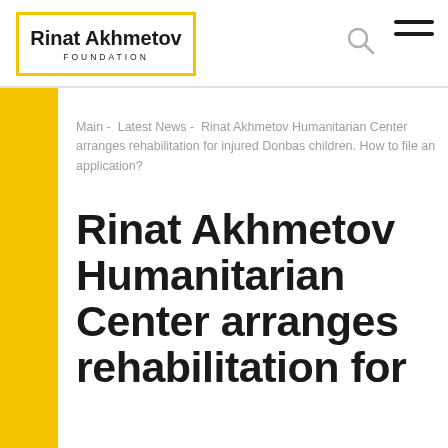Rinat Akhmetov FOUNDATION
Main -  Latest News -  Rinat Akhmetov Humanitarian Center arranges rehabilitation for injured Donbas children. How to file an application?
Rinat Akhmetov Humanitarian Center arranges rehabilitation for